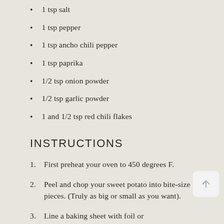1 tsp salt
1 tsp pepper
1 tsp ancho chili pepper
1 tsp paprika
1/2 tsp onion powder
1/2 tsp garlic powder
1 and 1/2 tsp red chili flakes
INSTRUCTIONS
First preheat your oven to 450 degrees F.
Peel and chop your sweet potato into bite-size pieces. (Truly as big or small as you want).
Line a baking sheet with foil or